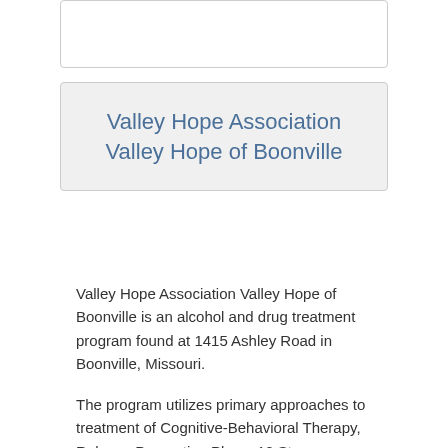Valley Hope Association Valley Hope of Boonville
Valley Hope Association Valley Hope of Boonville is an alcohol and drug treatment program found at 1415 Ashley Road in Boonville, Missouri.
The program utilizes primary approaches to treatment of Cognitive-Behavioral Therapy, Relapse Prevention Plans, 12 Step Addiction Support. The center offers services in these settings: Inpatient Facility, Outpatient Drug Abuse Treatment, Short Term Addiction